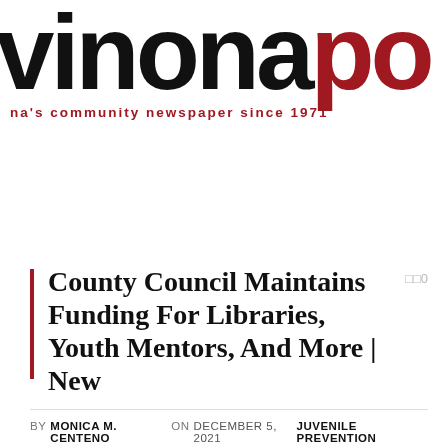vinona po — na's community newspaper since 1971
County Council Maintains Funding For Libraries, Youth Mentors, And More | New
BY MONICA M. CENTENO ON DECEMBER 5, 2021   JUVENILE PREVENTION